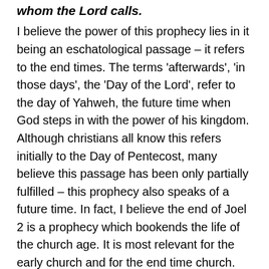card, even among the survivors whom the Lord calls.
I believe the power of this prophecy lies in it being an eschatological passage – it refers to the end times. The terms 'afterwards', 'in those days', the 'Day of the Lord', refer to the day of Yahweh, the future time when God steps in with the power of his kingdom. Although christians all know this refers initially to the Day of Pentecost, many believe this passage has been only partially fulfilled – this prophecy also speaks of a future time. In fact, I believe the end of Joel 2 is a prophecy which bookends the life of the church age. It is most relevant for the early church and for the end time church.
This is not surprising for, as in much OT prophecy, there are different peaks of fulfilment. Like looking at distant hills – you have the foothills and much further off the mountain